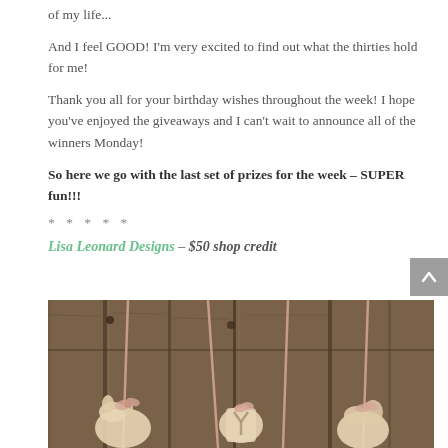of my life...
And I feel GOOD! I'm very excited to find out what the thirties hold for me!
Thank you all for your birthday wishes throughout the week! I hope you've enjoyed the giveaways and I can't wait to announce all of the winners Monday!
So here we go with the last set of prizes for the week – SUPER fun!!!
*****
Lisa Leonard Designs – $50 shop credit
[Figure (photo): Photo of ceramic letter ornaments hanging on a wooden fence with pink ribbon]